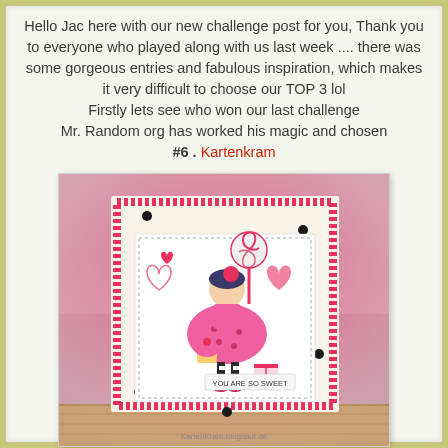Hello Jac here with our new challenge post for you, Thank you to everyone who played along with us last week .... there was some gorgeous entries and fabulous inspiration, which makes it very difficult to choose our TOP 3 lol Firstly lets see who won our last challenge Mr. Random org has worked his magic and chosen #6 . Kartenkram
[Figure (photo): A handmade greeting card featuring a cute girl in a pink polka-dot dress holding a lollipop, decorated with hearts, a cupcake, and 'YOU ARE SO SWEET' sentiment, on a pink watercolor background. Text at bottom reads KartenKram.blogspot.de]